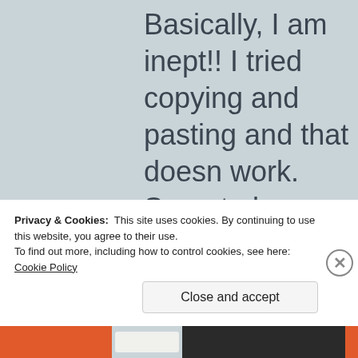Basically, I am inept!! I tried copying and pasting and that doesn work. Sorry to be a pain, any help would be greatly appreciated.
Privacy & Cookies: This site uses cookies. By continuing to use this website, you agree to their use. To find out more, including how to control cookies, see here: Cookie Policy
Close and accept